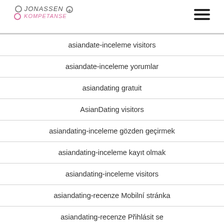JONASSEN KOMPETANSE
asiandate-inceleme visitors
asiandate-inceleme yorumlar
asiandating gratuit
AsianDating visitors
asiandating-inceleme gözden geçirmek
asiandating-inceleme kayıt olmak
asiandating-inceleme visitors
asiandating-recenze Mobilní stránka
asiandating-recenze PřihlÁsit se